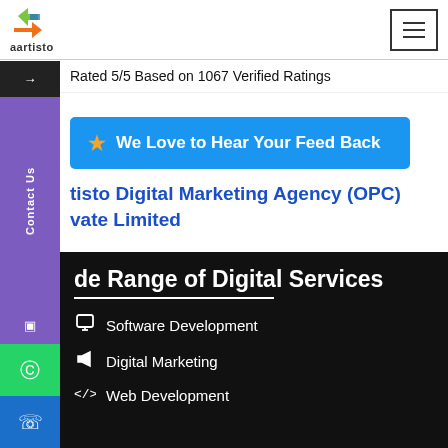[Figure (logo): Aartisto logo with colorful geometric arrow shapes and 'aartisto' text below]
Rated 5/5 Based on 1067 Verified Ratings
We Love to Hear Your Feed Back
tisto Digital Marketing Agency (OPC) vate Limited
de Range of Digital Services
Software Development
Digital Marketing
Web Development